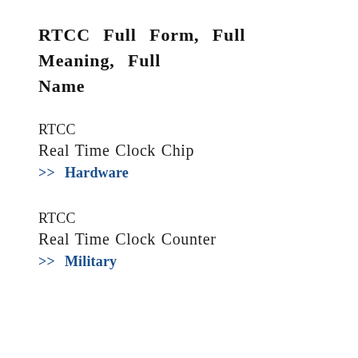RTCC Full Form, Full Meaning, Full Name
RTCC
Real Time Clock Chip
>> Hardware
RTCC
Real Time Clock Counter
>> Military